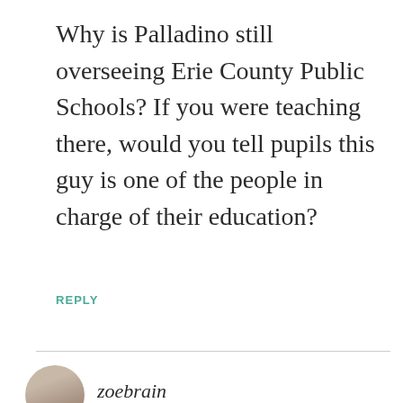Why is Palladino still overseeing Erie County Public Schools? If you were teaching there, would you tell pupils this guy is one of the people in charge of their education?
REPLY
zoebrain